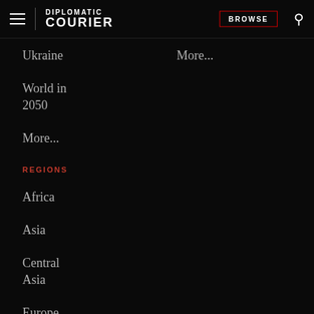DIPLOMATIC COURIER | BROWSE
Ukraine
World in 2050
More...
More...
REGIONS
Africa
Asia
Central Asia
Europe
Global
More